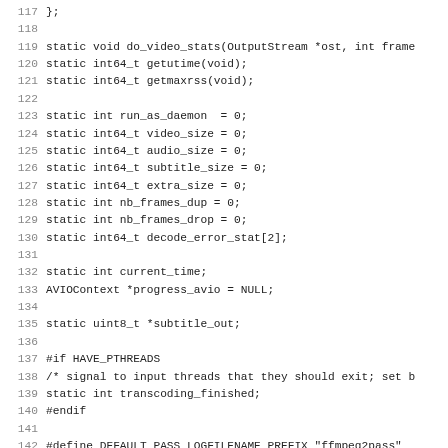Code listing lines 117–148 (C source code)